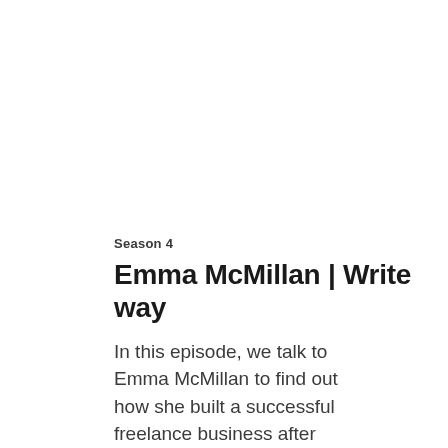Season 4
Emma McMillan | Write way
In this episode, we talk to Emma McMillan to find out how she built a successful freelance business after